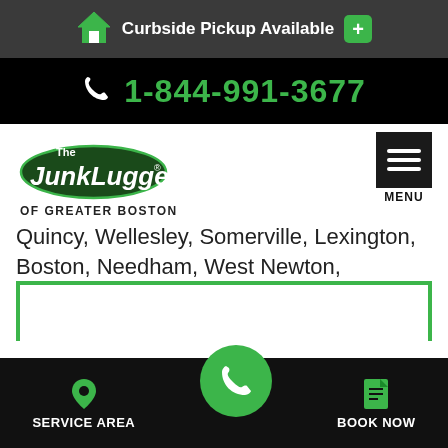Curbside Pickup Available
1-844-991-3677
[Figure (logo): The Junkluggers of Greater Boston logo]
OF GREATER BOSTON
Quincy, Wellesley, Somerville, Lexington, Boston, Needham, West Newton, Winchester, Westwood, Newton Center, and nearby.
SERVICE AREA
BOOK NOW